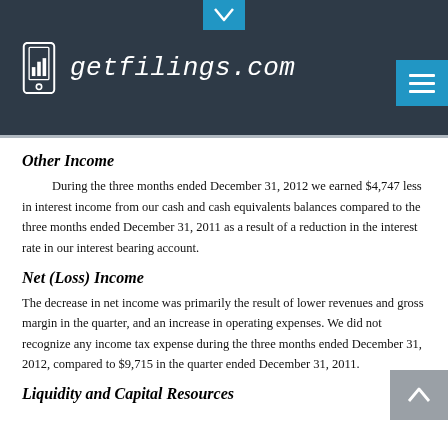getfilings.com
Other Income
During the three months ended December 31, 2012 we earned $4,747 less in interest income from our cash and cash equivalents balances compared to the three months ended December 31, 2011 as a result of a reduction in the interest rate in our interest bearing account.
Net (Loss) Income
The decrease in net income was primarily the result of lower revenues and gross margin in the quarter, and an increase in operating expenses. We did not recognize any income tax expense during the three months ended December 31, 2012, compared to $9,715 in the quarter ended December 31, 2011.
Liquidity and Capital Resources